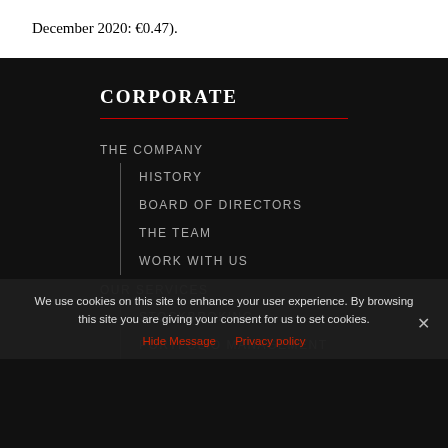December 2020: €0.47).
CORPORATE
THE COMPANY
HISTORY
BOARD OF DIRECTORS
THE TEAM
WORK WITH US
OUR SERVICES
STOCKBROKING
PORTFOLIO MANAGEMENT
We use cookies on this site to enhance your user experience. By browsing this site you are giving your consent for us to set cookies.
Hide Message   Privacy policy